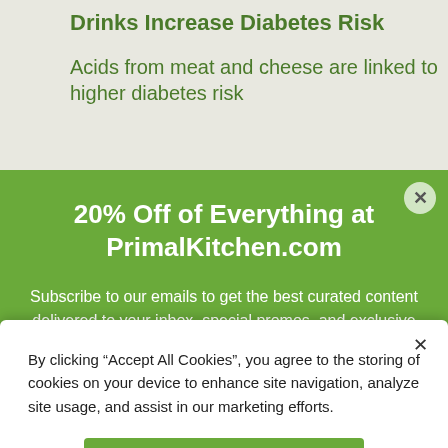Drinks Increase Diabetes Risk
Acids from meat and cheese are linked to higher diabetes risk
20% Off of Everything at PrimalKitchen.com
Subscribe to our emails to get the best curated content delivered to your inbox, special promos, and exclusive content you can't read anywhere else.
By clicking “Accept All Cookies”, you agree to the storing of cookies on your device to enhance site navigation, analyze site usage, and assist in our marketing efforts.
Accept All Cookies